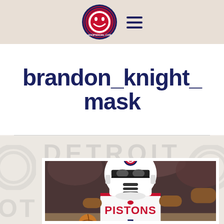HoopSocial logo and navigation
brandon_knight_mask
[Figure (photo): Basketball player Brandon Knight wearing a Detroit Pistons jersey (number 7) with a Star Wars Stormtrooper helmet photoshopped onto his head, featuring the Detroit Pistons logo on the helmet. Player is dribbling a basketball on the court.]